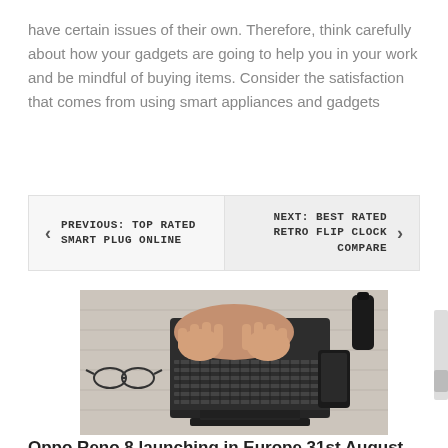have certain issues of their own. Therefore, think carefully about how your gadgets are going to help you in your work and be mindful of buying items. Consider the satisfaction that comes from using smart appliances and gadgets
PREVIOUS: TOP RATED SMART PLUG ONLINE | NEXT: BEST RATED RETRO FLIP CLOCK COMPARE
[Figure (photo): Overhead view of a person's hands typing on a laptop keyboard on a bed, with glasses on the left, a smartphone on the right, and a dark bottle in the top-right corner]
Oppo Reno 8 launching in Europe 31st August